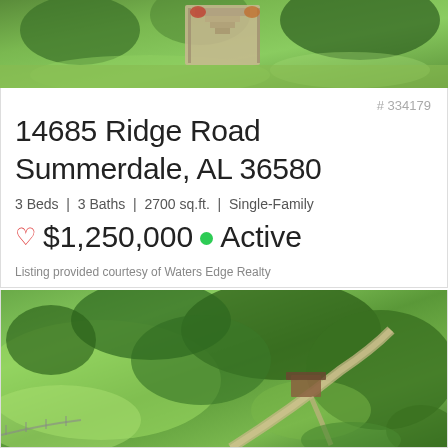[Figure (photo): Top portion of a property photo showing a wooden deck/stairs with green lawn and plantings]
# 334179
14685 Ridge Road
Summerdale, AL 36580
3 Beds | 3 Baths | 2700 sq.ft. | Single-Family
♡ $1,250,000 ● Active
Listing provided courtesy of Waters Edge Realty
[Figure (photo): Aerial drone photo of large rural property with green fields, scattered trees, forested areas, a house visible in the middle distance, and a road curving through the landscape]